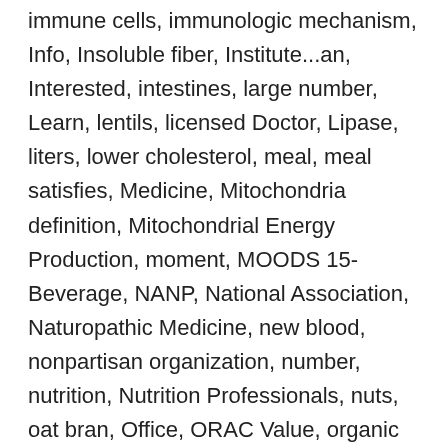immune cells, immunologic mechanism, Info, Insoluble fiber, Institute...an, Interested, intestines, large number, Learn, lentils, licensed Doctor, Lipase, liters, lower cholesterol, meal, meal satisfies, Medicine, Mitochondria definition, Mitochondrial Energy Production, moment, MOODS 15- Beverage, NANP, National Association, Naturopathic Medicine, new blood, nonpartisan organization, number, nutrition, Nutrition Professionals, nuts, oat bran, Office, ORAC Value, organic means, ounces, outer layer, oxygen radical absorbance, peas, pH, pH scale, process, Promotes, Proteases, protein, Protein Lipase, real food, refined sugar, School, Serving, soda, Soluble, Soluble Fiber, stomach, sugar,